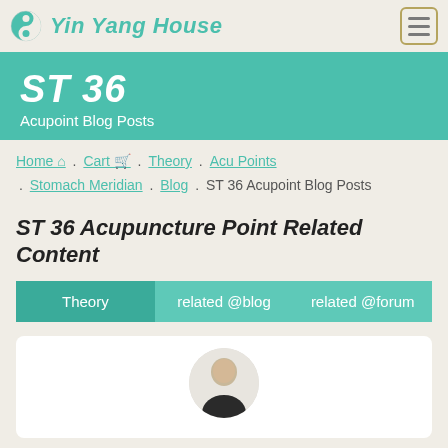Yin Yang House
ST 36
Acupoint Blog Posts
Home . Cart . Theory . Acu Points . Stomach Meridian . Blog . ST 36 Acupoint Blog Posts
ST 36 Acupuncture Point Related Content
Theory
related @blog
related @forum
[Figure (photo): Circular avatar photo of a person (practitioner headshot)]